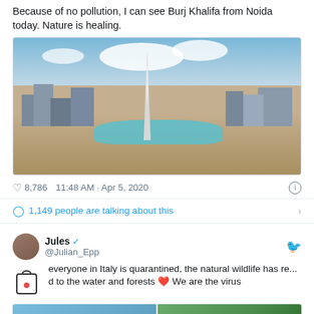Because of no pollution, I can see Burj Khalifa from Noida today. Nature is healing.
[Figure (photo): Aerial photograph of the Burj Khalifa skyscraper in Dubai surrounded by cityscape and turquoise water features under a partly cloudy blue sky]
♡ 8,786   11:48 AM · Apr 5, 2020
1,149 people are talking about this
Jules @Julian_Epp — everyone in Italy is quarantined, the natural wildlife has re... d to the water and forests ❤ We are the virus
[Figure (photo): Two partial images at bottom: left shows water/sky scene, right shows trees/forest]